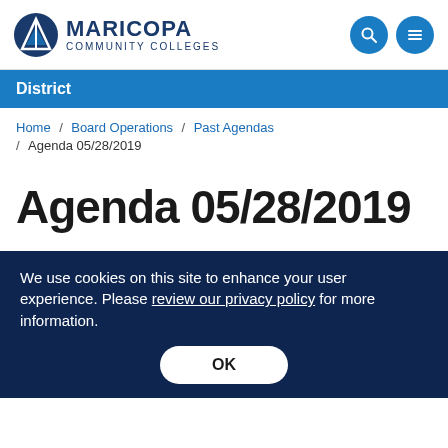MARICOPA COMMUNITY COLLEGES
District
Home / Board Operations / Past Agendas / Agenda 05/28/2019
Agenda 05/28/2019
We use cookies on this site to enhance your user experience. Please review our privacy policy for more information.
OK